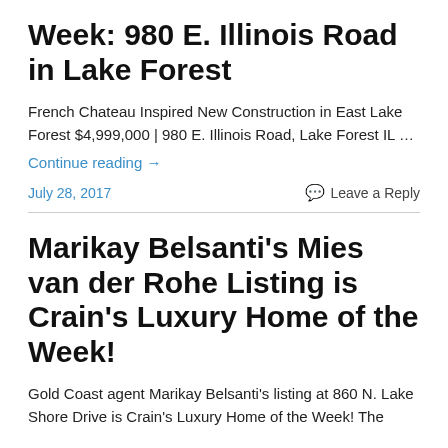Week: 980 E. Illinois Road in Lake Forest
French Chateau Inspired New Construction in East Lake Forest $4,999,000 | 980 E. Illinois Road, Lake Forest IL …
Continue reading →
July 28, 2017   Leave a Reply
Marikay Belsanti's Mies van der Rohe Listing is Crain's Luxury Home of the Week!
Gold Coast agent Marikay Belsanti's listing at 860 N. Lake Shore Drive is Crain's Luxury Home of the Week! The